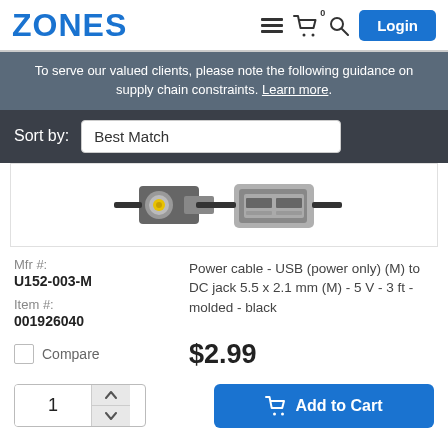ZONES
To serve our valued clients, please note the following guidance on supply chain constraints. Learn more.
Sort by: Best Match
[Figure (photo): Product photo showing a USB power cable with DC jack 5.5 x 2.1 mm connector (yellow tip) and USB-A connector]
Mfr #: U152-003-M
Power cable - USB (power only) (M) to DC jack 5.5 x 2.1 mm (M) - 5 V - 3 ft - molded - black
Item #: 001926040
Compare
$2.99
Add to Cart